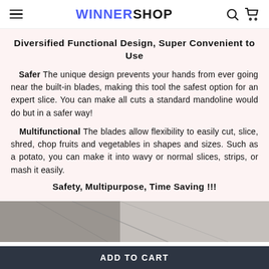WINNERSHOP
Diversified Functional Design, Super Convenient to Use
Safer The unique design prevents your hands from ever going near the built-in blades, making this tool the safest option for an expert slice. You can make all cuts a standard mandoline would do but in a safer way!
Multifunctional The blades allow flexibility to easily cut, slice, shred, chop fruits and vegetables in shapes and sizes. Such as a potato, you can make it into wavy or normal slices, strips, or mash it easily.
Safety, Multipurpose, Time Saving !!!
[Figure (photo): Product photo showing a kitchen mandoline slicer tool]
ADD TO CART